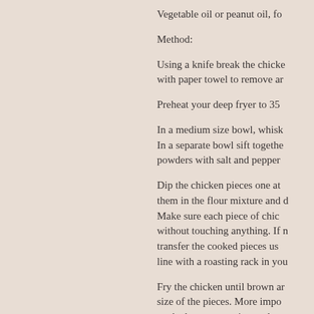Vegetable oil or peanut oil, fo
Method:
Using a knife break the chicke with paper towel to remove ar
Preheat your deep fryer to 35
In a medium size bowl, whisk In a separate bowl sift togethe powders with salt and pepper
Dip the chicken pieces one at them in the flour mixture and Make sure each piece of chic without touching anything. If r transfer the cooked pieces us line with a roasting rack in you
Fry the chicken until brown ar size of the pieces. More impo cooked to a proper internal te with a food thermometer.